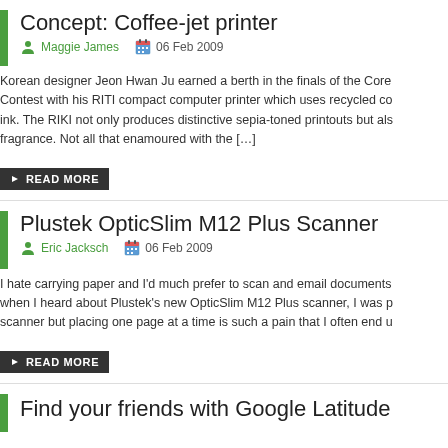Concept: Coffee-jet printer
Maggie James  06 Feb 2009
Korean designer Jeon Hwan Ju earned a berth in the finals of the Core Contest with his RITI compact computer printer which uses recycled co ink. The RIKI not only produces distinctive sepia-toned printouts but als fragrance. Not all that enamoured with the […]
READ MORE
Plustek OpticSlim M12 Plus Scanner
Eric Jacksch  06 Feb 2009
I hate carrying paper and I'd much prefer to scan and email documents when I heard about Plustek's new OpticSlim M12 Plus scanner, I was p scanner but placing one page at a time is such a pain that I often end u
READ MORE
Find your friends with Google Latitude